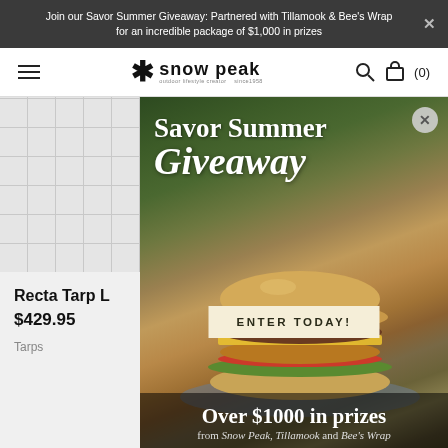Join our Savor Summer Giveaway: Partnered with Tillamook & Bee's Wrap for an incredible package of $1,000 in prizes
[Figure (screenshot): Snow Peak logo with asterisk/snowflake icon and brand name]
Recta Tarp L
$429.95
Tarps
[Figure (photo): Savor Summer Giveaway popup overlay showing a burger on a plate with text: Savor Summer Giveaway, ENTER TODAY!, Over $1000 in prizes from Snow Peak, Tillamook and Bee's Wrap]